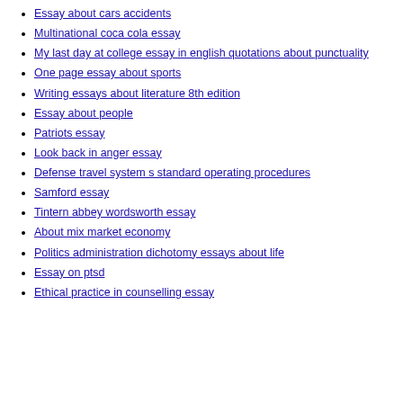Essay about cars accidents
Multinational coca cola essay
My last day at college essay in english quotations about punctuality
One page essay about sports
Writing essays about literature 8th edition
Essay about people
Patriots essay
Look back in anger essay
Defense travel system s standard operating procedures
Samford essay
Tintern abbey wordsworth essay
About mix market economy
Politics administration dichotomy essays about life
Essay on ptsd
Ethical practice in counselling essay